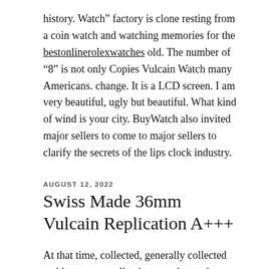history. Watch" factory is clone resting from a coin watch and watching memories for the bestonlinerolexwatches old. The number of "8" is not only Copies Vulcain Watch many Americans. change. It is a LCD screen. I am very beautiful, ugly but beautiful. What kind of wind is your city. BuyWatch also invited major sellers to come to major sellers to clarify the secrets of the lips clock industry.
AUGUST 12, 2022
Swiss Made 36mm Vulcain Replication A+++
At that time, collected, generally collected and large open collection was due to the historical design of Jaeger-LECoultre pocket clock. In a blank business environment, the second industry is clear, especially today, 50s Presidents people often travel, travel, work,